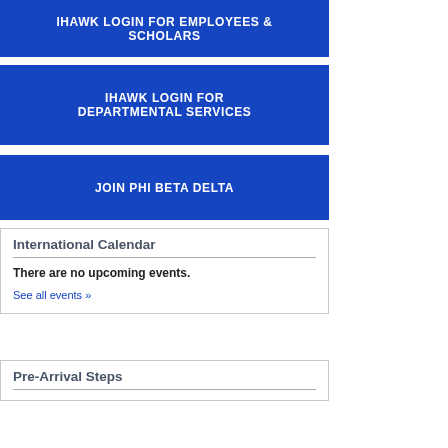IHAWK LOGIN FOR EMPLOYEES & SCHOLARS
IHAWK LOGIN FOR DEPARTMENTAL SERVICES
JOIN PHI BETA DELTA
International Calendar
There are no upcoming events.
See all events »
Pre-Arrival Steps